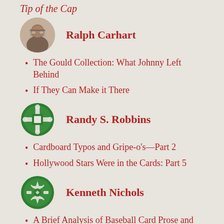Tip of the Cap
[Figure (photo): Circular avatar photo of Ralph Carhart, a man with glasses]
Ralph Carhart
The Gould Collection: What Johnny Left Behind
If They Can Make it There
[Figure (logo): Green circular icon/logo with crosshair-like symbol for Randy S. Robbins]
Randy S. Robbins
Cardboard Typos and Gripe-o's—Part 2
Hollywood Stars Were in the Cards: Part 5
[Figure (logo): Green circular icon/logo with decorative snowflake/cross pattern for Kenneth Nichols]
Kenneth Nichols
A Brief Analysis of Baseball Card Prose and